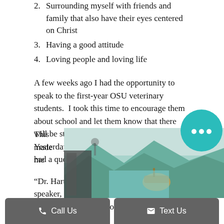2. Surrounding myself with friends and family that also have their eyes centered on Christ
3. Having a good attitude
4. Loving people and loving life
A few weeks ago I had the opportunity to speak to the first-year OSU veterinary students. I took this time to encourage them about school and let them know that there will be struggles, but YOU can overcome! Yesterday, I received a “thank you” letter that had a quote from a student about me.
“Dr. Hartfield was by far my favorite speaker, she was open about her struggles, gave insightful words of wisdom and was very encouraging.”
This made me
[Figure (photo): A photo showing a teal/turquoise landscape scene with some objects, partially covered by UI buttons]
[Figure (other): Chat bubble icon (teal circle with three dots)]
Call Us
Text Us